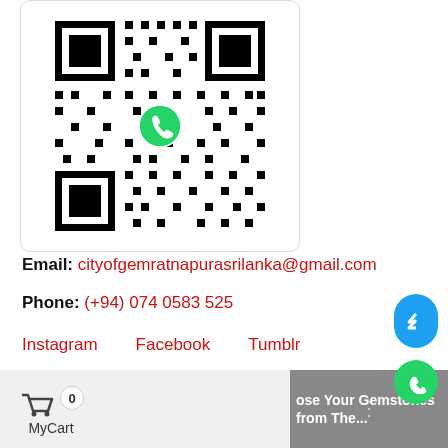[Figure (other): WhatsApp QR code in a rounded white card]
Email: cityofgemratnapurasrilanka@gmail.com
Phone: (+94) 074 0583 525
Instagram   Facebook   Tumblr
Twitter  VK   Pinterest  LinkedIn
MyCart  0